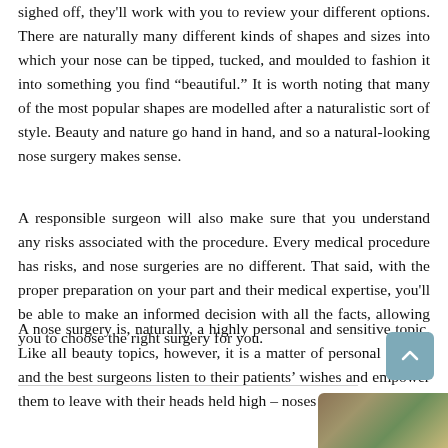sighed off, they'll work with you to review your different options. There are naturally many different kinds of shapes and sizes into which your nose can be tipped, tucked, and moulded to fashion it into something you find “beautiful.” It is worth noting that many of the most popular shapes are modelled after a naturalistic sort of style. Beauty and nature go hand in hand, and so a natural-looking nose surgery makes sense.
A responsible surgeon will also make sure that you understand any risks associated with the procedure. Every medical procedure has risks, and nose surgeries are no different. That said, with the proper preparation on your part and their medical expertise, you'll be able to make an informed decision with all the facts, allowing you to choose the right surgery for you.
A nose surgery is, naturally, a highly personal and sensitive topic. Like all beauty topics, however, it is a matter of personal choice, and the best surgeons listen to their patients’ wishes and empower them to leave with their heads held high – noses and all.
[Figure (photo): Partial image of food or nature scene at bottom right corner of page]